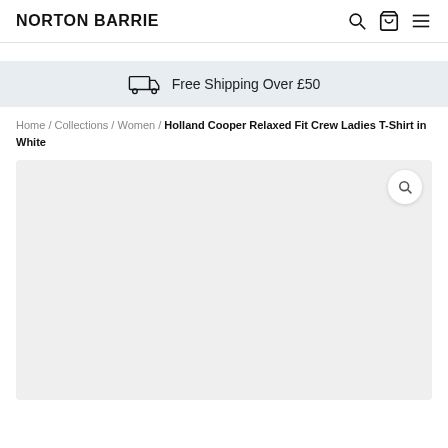NORTON BARRIE
Free Shipping Over £50
Home / Collections / Women / Holland Cooper Relaxed Fit Crew Ladies T-Shirt in White
[Figure (photo): Product image area showing a light grey placeholder for Holland Cooper Relaxed Fit Crew Ladies T-Shirt in White, with a zoom/search icon button in the top right corner.]